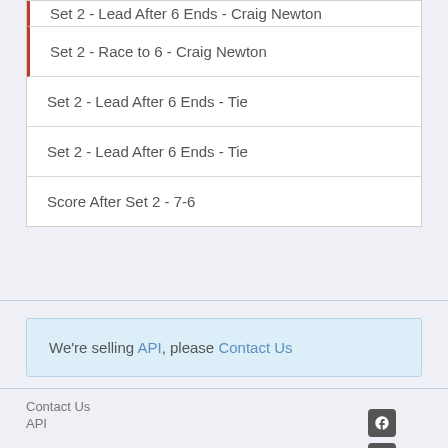Set 2 - Lead After 6 Ends - Craig Newton
Set 2 - Race to 6 - Craig Newton
Set 2 - Lead After 6 Ends - Tie
Set 2 - Lead After 6 Ends - Tie
Score After Set 2 - 7-6
We're selling API, please Contact Us
Contact Us
API